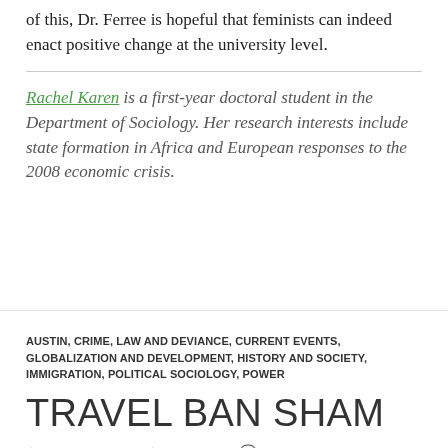of this, Dr. Ferree is hopeful that feminists can indeed enact positive change at the university level.
Rachel Karen is a first-year doctoral student in the Department of Sociology. Her research interests include state formation in Africa and European responses to the 2008 economic crisis.
AUSTIN, CRIME, LAW AND DEVIANCE, CURRENT EVENTS, GLOBALIZATION AND DEVELOPMENT, HISTORY AND SOCIETY, IMMIGRATION, POLITICAL SOCIOLOGY, POWER
TRAVEL BAN SHAM
MARCH 2, 2017   SGBUGGS   LEAVE A COMMENT
by Andrew Krebs